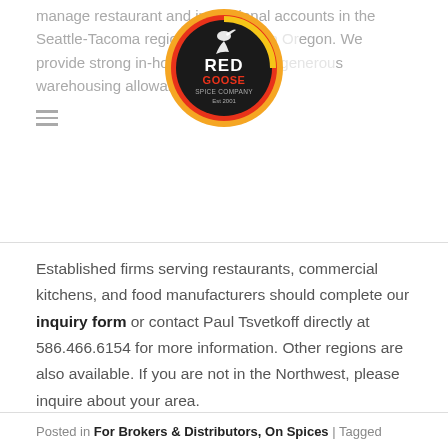manage restaurant and institutional accounts in the Seattle-Tacoma region and southern Oregon. We provide strong in-house support and generous warehousing allowances.
[Figure (logo): Red Goose Spice Company logo — circular badge with orange and yellow gradient ring, black background, red and white text reading RED GOOSE SPICE COMPANY Est 2001, with a goose silhouette.]
Established firms serving restaurants, commercial kitchens, and food manufacturers should complete our inquiry form or contact Paul Tsvetkoff directly at 586.466.6154 for more information. Other regions are also available. If you are not in the Northwest, please inquire about your area.
Posted in For Brokers & Distributors, On Spices | Tagged